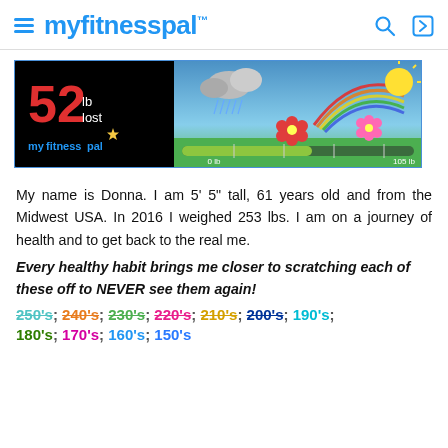myfitnesspal
[Figure (infographic): MyFitnessPal weight loss tracker banner showing 52 lb lost with a progress bar graphic transitioning from rainy clouds to sunshine and rainbow, with 0 lb and 105 lb markers]
My name is Donna. I am 5' 5" tall, 61 years old and from the Midwest USA. In 2016 I weighed 253 lbs. I am on a journey of health and to get back to the real me.
Every healthy habit brings me closer to scratching each of these off to NEVER see them again!
250's; 240's; 230's; 220's; 210's; 200's; 190's; 180's; 170's; 160's; 150's